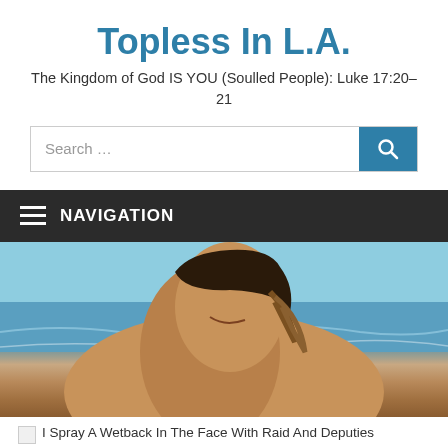Topless In L.A.
The Kingdom of God IS YOU (Soulled People): Luke 17:20–21
[Figure (screenshot): Search bar with text field and blue search button with magnifying glass icon]
NAVIGATION
[Figure (photo): Person smiling at beach, making a hand gesture, with ocean and sky in background]
I Spray A Wetback In The Face With Raid And Deputies